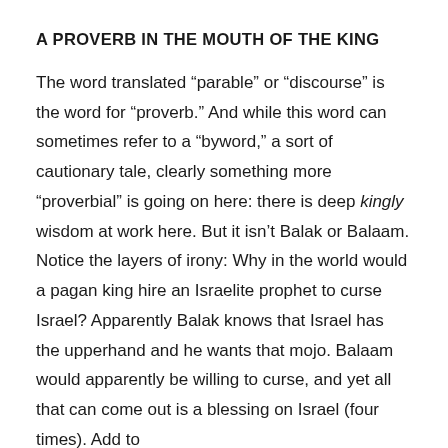A PROVERB IN THE MOUTH OF THE KING
The word translated “parable” or “discourse” is the word for “proverb.” And while this word can sometimes refer to a “byword,” a sort of cautionary tale, clearly something more “proverbial” is going on here: there is deep kingly wisdom at work here. But it isn’t Balak or Balaam. Notice the layers of irony: Why in the world would a pagan king hire an Israelite prophet to curse Israel? Apparently Balak knows that Israel has the upperhand and he wants that mojo. Balaam would apparently be willing to curse, and yet all that can come out is a blessing on Israel (four times). Add to